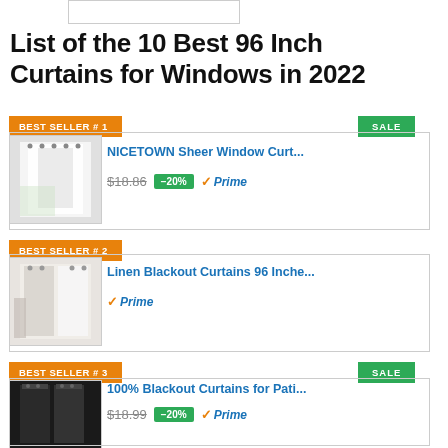[Figure (photo): Partial image stub at top of page]
List of the 10 Best 96 Inch Curtains for Windows in 2022
BEST SELLER # 1
SALE
[Figure (photo): White sheer curtains product photo]
NICETOWN Sheer Window Curt...
$18.86 -20% Prime
BEST SELLER # 2
[Figure (photo): Linen blackout curtains product photo]
Linen Blackout Curtains 96 Inche...
Prime
BEST SELLER # 3
SALE
[Figure (photo): Black blackout curtains product photo]
100% Blackout Curtains for Pati...
$18.99 -20% Prime